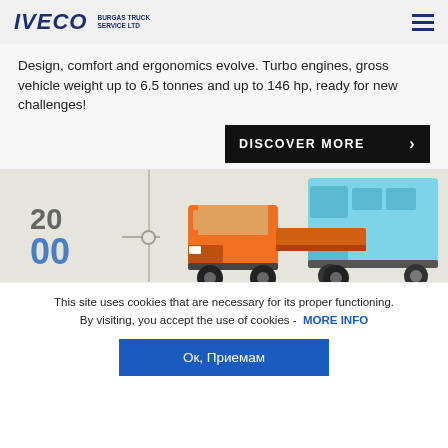IVECO | BURGAS TRUCK SERVICE LTD
Design, comfort and ergonomics evolve. Turbo engines, gross vehicle weight up to 6.5 tonnes and up to 146 hp, ready for new challenges!
DISCOVER MORE
[Figure (photo): IVECO commercial vehicles - orange flatbed truck and blue high-roof van, with timeline markers showing year 2000]
This site uses cookies that are necessary for its proper functioning. By visiting, you accept the use of cookies - MORE INFO
Ок, Приемам